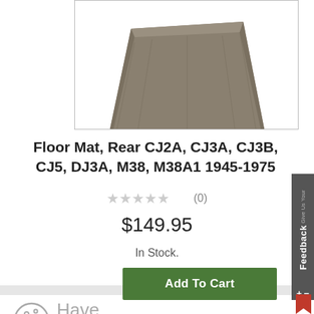[Figure (photo): Product photo of a floor mat (partial, cropped at top) shown against white background inside a bordered rectangle]
Floor Mat, Rear CJ2A, CJ3A, CJ3B, CJ5, DJ3A, M38, M38A1 1945-1975
(0)
$149.95
In Stock.
Add To Cart
Have a cookie
Accept the use of cookies on this site more information
I Accept